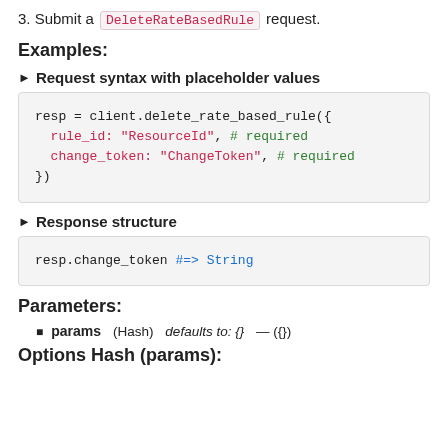3. Submit a DeleteRateBasedRule request.
Examples:
► Request syntax with placeholder values
resp = client.delete_rate_based_rule({
  rule_id: "ResourceId", # required
  change_token: "ChangeToken", # required
})
► Response structure
resp.change_token #=> String
Parameters:
params (Hash) (defaults to: {}) — ({})
Options Hash (params):